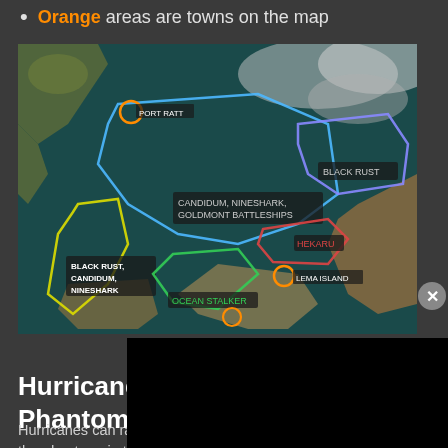Orange areas are towns on the map
[Figure (map): Ocean map showing colored zone outlines: blue polygon labeled 'CANDIDUM, NINESHARK, GOLDMONT BATTLESHIPS', purple polygon labeled 'BLACK RUST', red polygon labeled 'HEKARU', yellow polygon labeled 'BLACK RUST, CANDIDUM, NINESHARK', green polygon labeled 'OCEAN STALKER'. Orange circles mark town locations: PORT RATT, LEMA ISLAND, and one other. Satellite-style ocean/land imagery.]
Hurricanes and M... Phantom Ships
Hurricanes can randomly spawn during a thunderstorm in the Margoria sea. If you are hit